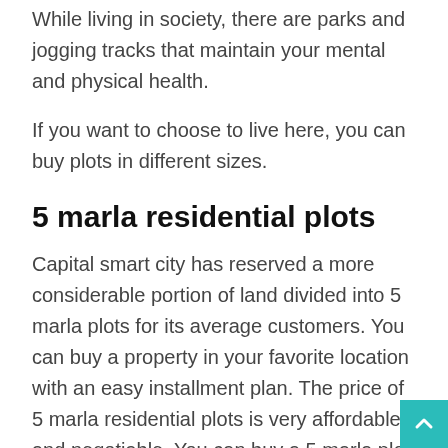While living in society, there are parks and jogging tracks that maintain your mental and physical health.
If you want to choose to live here, you can buy plots in different sizes.
5 marla residential plots
Capital smart city has reserved a more considerable portion of land divided into 5 marla plots for its average customers. You can buy a property in your favorite location with an easy installment plan. The price of 5 marla residential plots is very affordable and negotiable. You can buy a 5 marla plot by paying only Rs2415000 with a booking amount of Rs241500 and a confirmation amount of 241500. Furthermore, you have to pay Rs138000 after